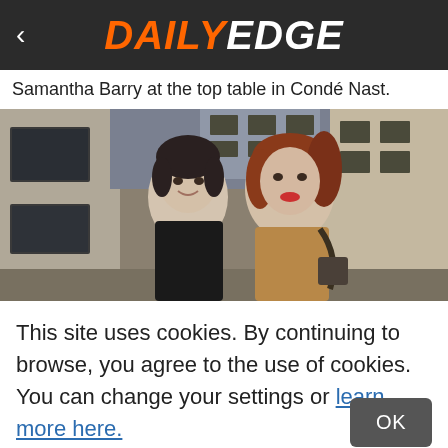DAILY EDGE
Samantha Barry at the top table in Condé Nast.
[Figure (photo): Two young women smiling outdoors on a city street, one with dark hair in a black top, one with long auburn hair in a brown jacket, urban alley background]
This site uses cookies. By continuing to browse, you agree to the use of cookies. You can change your settings or learn more here.